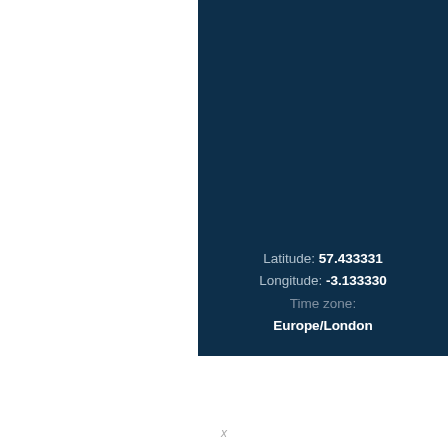[Figure (other): Dark navy blue rectangular panel occupying the right portion of the page from top to approximately 80% height, containing geolocation information text.]
Latitude: 57.433331
Longitude: -3.133330
Time zone:
Europe/London